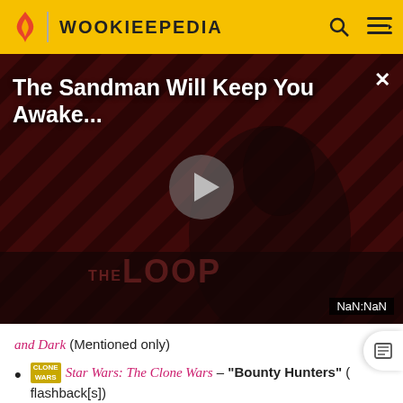WOOKIEEPEDIA
[Figure (screenshot): Video player showing 'The Sandman Will Keep You Awake...' with a dark-clad figure against red and black striped background, THE LOOP logo visible, play button centered, NaN:NaN timestamp, and X close button]
and Dark (Mentioned only)
Star Wars: The Clone Wars – "Bounty Hunters" (flashback[s])
Star Wars: The Clone Wars – "Senate Spy" (Appears in hologram)